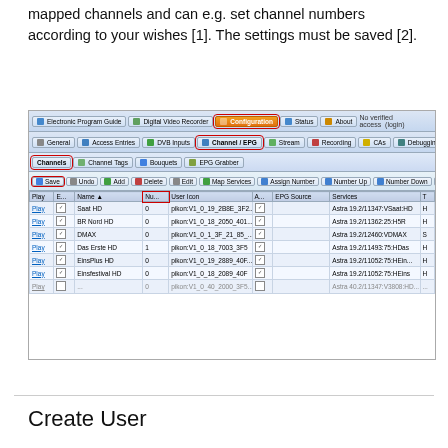mapped channels and can e.g. set channel numbers according to your wishes [1]. The settings must be saved [2].
[Figure (screenshot): Screenshot of a TV Headend web interface showing the Configuration tab selected, with Channel/EPG sub-tab and Channels section active. A table lists channels including Saat HD, BR Nord HD, DMAX, Das Erste HD, EinsPlus HD, Einsfestival HD with columns for Play, E, Name, Nu, User Icon, A, EPG Source, Services, T. Save and Nu column header are highlighted with red borders. Configuration tab and Channel/EPG tab also highlighted with red borders.]
Create User